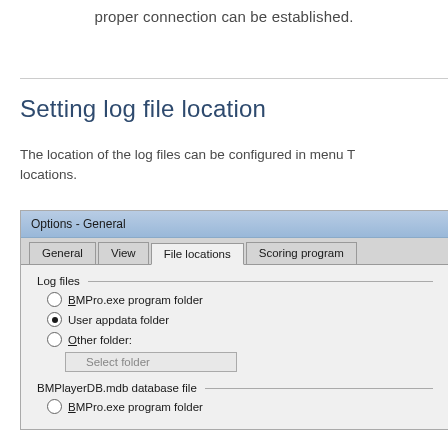proper connection can be established.
Setting log file location
The location of the log files can be configured in menu To locations.
[Figure (screenshot): Screenshot of Options - General dialog box showing File locations tab with Log files section containing radio buttons: BMPro.exe program folder, User appdata folder (selected), Other folder with Select folder button. Also shows BMPlayerDB.mdb database file section with BMPro.exe program folder radio button.]